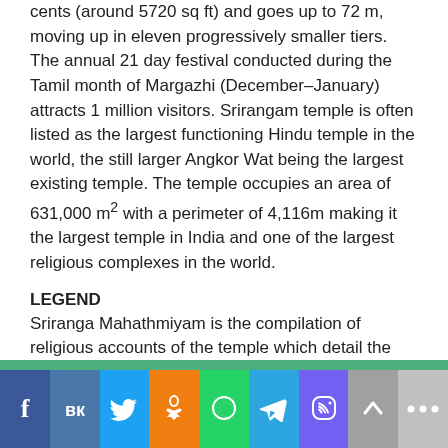cents (around 5720 sq ft) and goes up to 72 m, moving up in eleven progressively smaller tiers. The annual 21 day festival conducted during the Tamil month of Margazhi (December–January) attracts 1 million visitors. Srirangam temple is often listed as the largest functioning Hindu temple in the world, the still larger Angkor Wat being the largest existing temple. The temple occupies an area of 631,000 m² with a perimeter of 4,116m making it the largest temple in India and one of the largest religious complexes in the world.
LEGEND
Sriranga Mahathmiyam is the compilation of religious accounts of the temple which detail the origins of its greatness. According to it, Lord Rama, himself an Avatar of Vishnu, worshiped the idol for a long time, and when he returned victoriously from Sri Lanka after destroying Ravana, he gave it to King Vibhishana as a